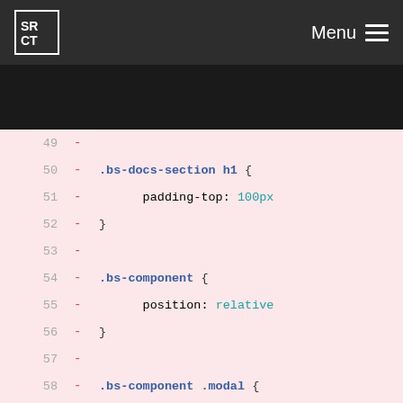SRCT Menu
[Figure (screenshot): Code diff view showing CSS lines 49-69 with removed lines (red '-' markers) on pink background. Lines show CSS rules for .bs-docs-section h1, .bs-component, .bs-component .modal, and .bs-component .modal-dialog selectors.]